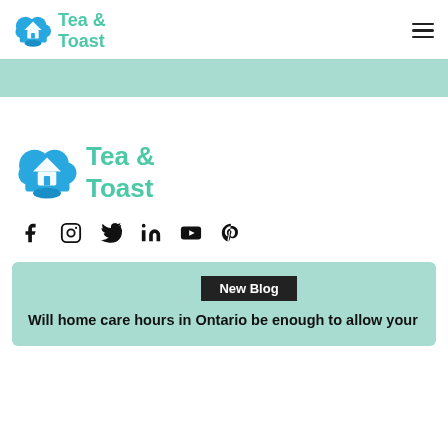Tea & Toast
[Figure (logo): Tea & Toast logo in header: blue heart/house icon with teal Tea & Toast text]
[Figure (logo): Tea & Toast logo in body: blue heart/house icon with teal Tea & Toast text, larger size]
[Figure (infographic): Social media icons row: Facebook, Instagram, Twitter, LinkedIn, YouTube, Pinterest]
New Blog
Will home care hours in Ontario be enough to allow your